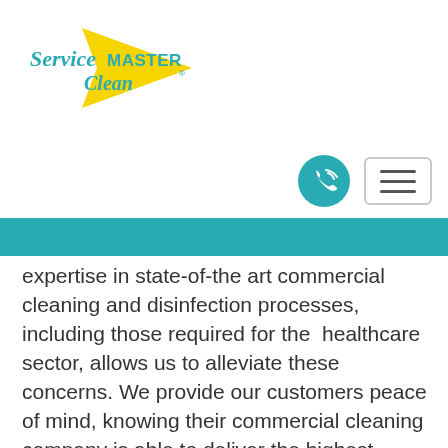[Figure (logo): ServiceMaster Clean logo with yellow star/arrow shape and teal text]
[Figure (other): Teal phone call button (circle) and hamburger menu button (rectangle with three lines)]
[Figure (other): Teal horizontal bar/banner]
expertise in state-of-the art commercial cleaning and disinfection processes, including those required for the healthcare sector, allows us to alleviate these concerns. We provide our customers peace of mind, knowing their commercial cleaning company is able to deliver the highest standards of cleaning, sanitization and disinfection services available.
Our highly trained cleaning and disinfection crews are dedicated to going above and beyond your expectations. Through clear communication and teamwork, we provide facility, building and office